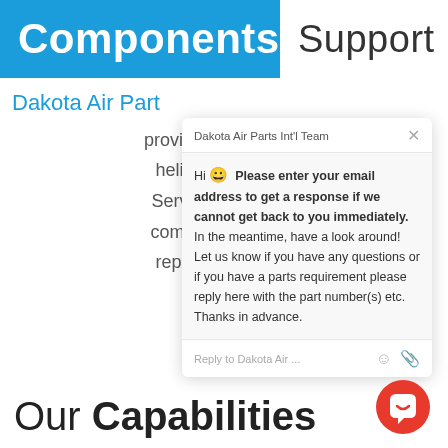Components  Support
Dakota Air Part  provide global s  helicopter an  Services inclu  component ex  repair solutio  team
[Figure (screenshot): Chat popup from Dakota Air Parts Int'l Team with message: Hi 😀 Please enter your email address to get a response if we cannot get back to you immediately. In the meantime, have a look around! Let us know if you have any questions or if you have a parts requirement please reply here with the part number(s) etc. Thanks in advance. Reply input field at bottom with emoji and attachment icons.]
Our Capabilities